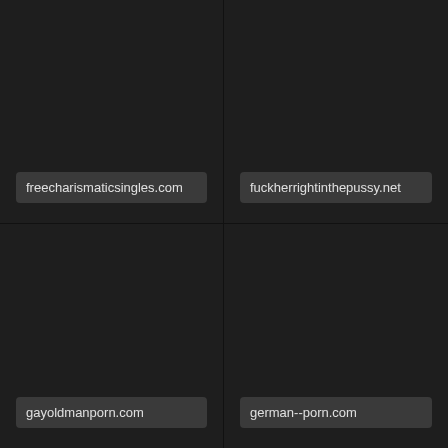freecharismaticsingles.com
fuckherrightinthepussy.net
gayoldmanporn.com
german--porn.com